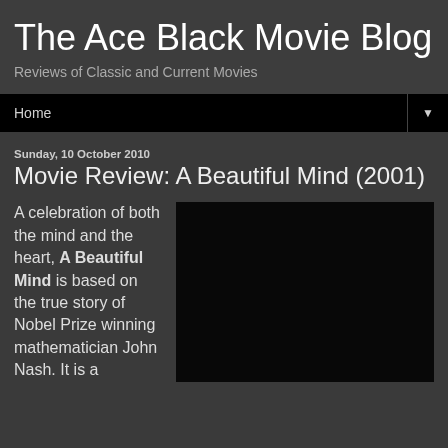The Ace Black Movie Blog
Reviews of Classic and Current Movies
Home
Sunday, 10 October 2010
Movie Review: A Beautiful Mind (2001)
A celebration of both the mind and the heart, A Beautiful Mind is based on the true story of Nobel Prize winning mathematician John Nash. It is a
[Figure (photo): Dark/black image placeholder for movie still or poster]